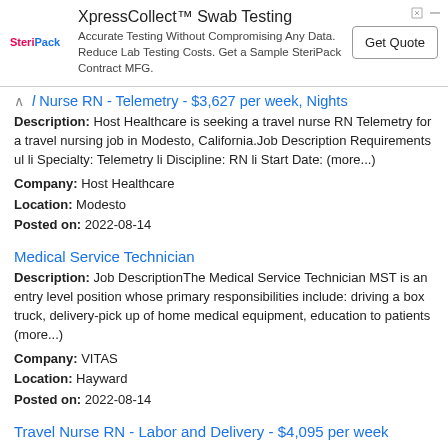[Figure (other): Advertisement banner for XpressCollect Swab Testing by SteriPack with Get Quote button]
Travel Nurse RN - Telemetry - $3,627 per week, Nights
Description: Host Healthcare is seeking a travel nurse RN Telemetry for a travel nursing job in Modesto, California.Job Description Requirements ul li Specialty: Telemetry li Discipline: RN li Start Date: (more...)
Company: Host Healthcare
Location: Modesto
Posted on: 2022-08-14
Medical Service Technician
Description: Job DescriptionThe Medical Service Technician MST is an entry level position whose primary responsibilities include: driving a box truck, delivery-pick up of home medical equipment, education to patients (more...)
Company: VITAS
Location: Hayward
Posted on: 2022-08-14
Travel Nurse RN - Labor and Delivery - $4,095 per week
Description: Host Healthcare is seeking a travel nurse RN Labor and Delivery for a travel nursing job in San Jose, California.Job Description Requirements ul li Specialty: Labor and Delivery li